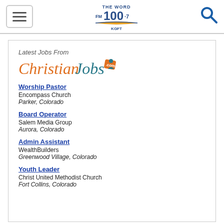THE WORD FM 100.7 KGFT
[Figure (logo): The Word FM 100.7 KGFT radio station logo with open book graphic]
[Figure (logo): Latest Jobs From ChristianJobs.com logo]
Worship Pastor
Encompass Church
Parker, Colorado
Board Operator
Salem Media Group
Aurora, Colorado
Admin Assistant
WealthBuilders
Greenwood Village, Colorado
Youth Leader
Christ United Methodist Church
Fort Collins, Colorado